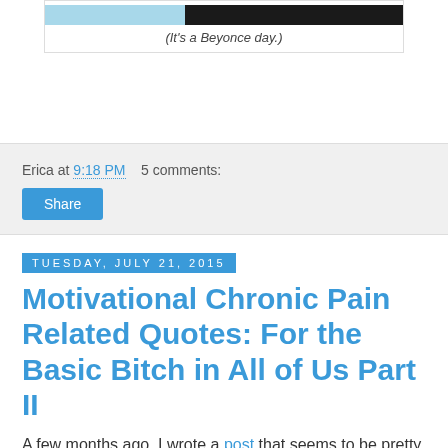[Figure (photo): Partial image showing a blue-tinted photo on the left and a dark photo on the right, cropped at top]
(It's a Beyonce day.)
Erica at 9:18 PM   5 comments:
Share
Tuesday, July 21, 2015
Motivational Chronic Pain Related Quotes: For the Basic Bitch in All of Us Part II
A few months ago, I wrote a post that seems to be pretty popular. I decided to add on to it because I am (secretly) a basic bitch and also (still) obsessed with quotes. (Again, if you didn't read the first and you can't read what it says, you can click on the photo to make it larger.)